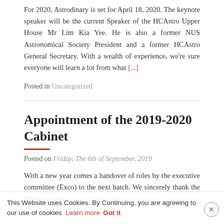For 2020, Astrodinary is set for April 18, 2020. The keynote speaker will be the current Speaker of the HCAstro Upper House Mr Lim Kia Yee. He is also a former NUS Astronomical Society President and a former HCAstro General Secretary. With a wealth of experience, we're sure everyone will learn a lot from what [...]
Posted in Uncategorized
Appointment of the 2019-2020 Cabinet
Posted on Friday, The 6th of September, 2019
With a new year comes a handover of roles by the executive committee (Exco) to the next batch. We sincerely thank the 2018-2019 Exco and all the seniors This Website uses Cookies. By Continuing, you are future endeavours. Now, let us introduce the new and limited Exco members of 2019-2020! agreeing to our use of cookies Learn more Got it